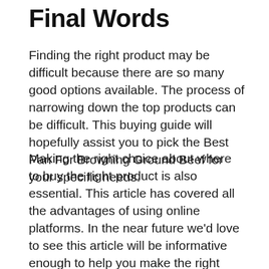Final Words
Finding the right product may be difficult because there are so many good options available. The process of narrowing down the top products can be difficult. This buying guide will hopefully assist you to pick the Best Pan For Browning Ground Beef for your specific needs.
Making the right choice about where to buy the right product is also essential. This article has covered all the advantages of using online platforms. In the near future we’d love to see this article will be informative enough to help you make the right buying decisions.